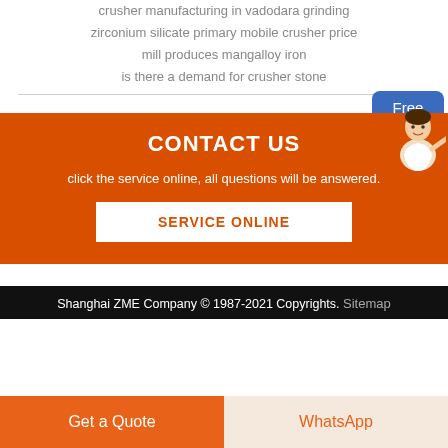crusher manufacturing in vadodara grinding
zirconium silicate primary mobile crusher price
mill produces mangalloy iron
is there a demand for crusher stone
CONTACT US
click the service online, all questions will be answered.
SERVICE ONLINE
Free chat
Shanghai ZME Company © 1987-2021 Copyrights. Sitemap
Get a Quote
WhatsApp